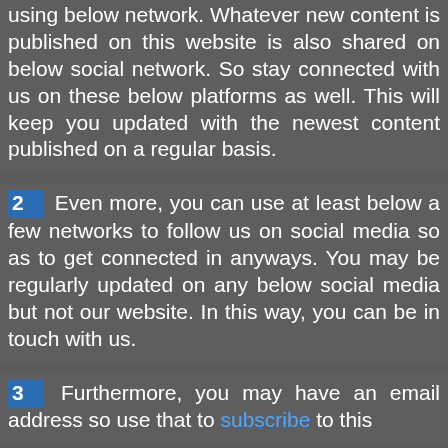using below network. Whatever new content is published on this website is also shared on below social network. So stay connected with us on these below platforms as well. This will keep you updated with the newest content published on a regular basis.
2 Even more, you can use at least below a few networks to follow us on social media so as to get connected in anyways. You may be regularly updated on any below social media but not our website. In this way, you can be in touch with us.
3 Furthermore, you may have an email address so use that to subscribe to this website to get early newly published...